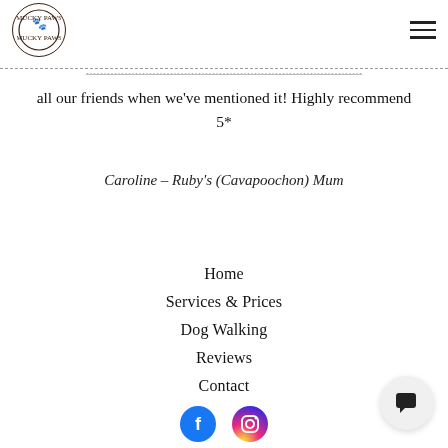[Figure (logo): Mucky Paws circular logo with paw prints and text around the circle]
all our friends when we've mentioned it! Highly recommend 5*
Caroline – Ruby's (Cavapoochon) Mum
Home
Services & Prices
Dog Walking
Reviews
Contact
[Figure (illustration): Social media icons: Facebook (blue circle) and Instagram (pink/red circle)]
[Figure (illustration): Chat button icon — speech bubble on light gray circular background]